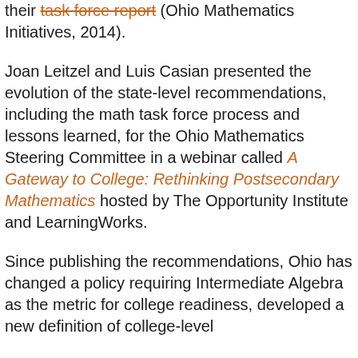their task force report (Ohio Mathematics Initiatives, 2014).
Joan Leitzel and Luis Casian presented the evolution of the state-level recommendations, including the math task force process and lessons learned, for the Ohio Mathematics Steering Committee in a webinar called A Gateway to College: Rethinking Postsecondary Mathematics hosted by The Opportunity Institute and LearningWorks.
Since publishing the recommendations, Ohio has changed a policy requiring Intermediate Algebra as the metric for college readiness, developed a new definition of college-level